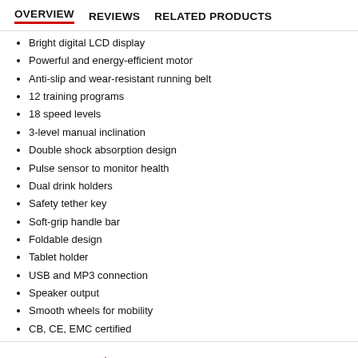OVERVIEW   REVIEWS   RELATED PRODUCTS
Bright digital LCD display
Powerful and energy-efficient motor
Anti-slip and wear-resistant running belt
12 training programs
18 speed levels
3-level manual inclination
Double shock absorption design
Pulse sensor to monitor health
Dual drink holders
Safety tether key
Soft-grip handle bar
Foldable design
Tablet holder
USB and MP3 connection
Speaker output
Smooth wheels for mobility
CB, CE, EMC certified
$619.95  $1,033.90
QTY  1  ADD TO CART